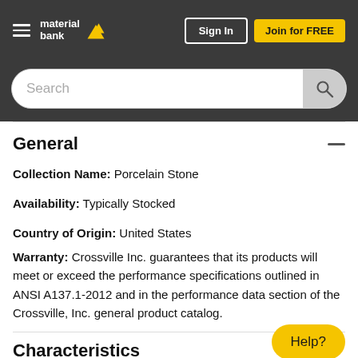[Figure (screenshot): Material Bank website header with hamburger menu, logo, Sign In button, and Join for FREE button on dark background, plus search bar below]
General
Collection Name: Porcelain Stone
Availability: Typically Stocked
Country of Origin: United States
Warranty: Crossville Inc. guarantees that its products will meet or exceed the performance specifications outlined in ANSI A137.1-2012 and in the performance data section of the Crossville, Inc. general product catalog.
Characteristics